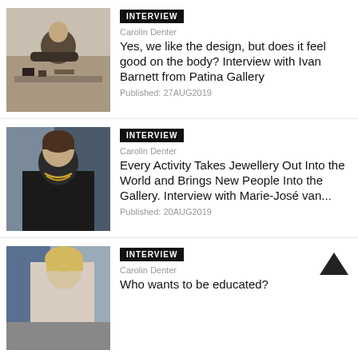[Figure (photo): Person working at a desk with art/design materials]
INTERVIEW
Carolin Denter
Yes, we like the design, but does it feel good on the body? Interview with Ivan Barnett from Patina Gallery
Published: 27AUG2019
[Figure (photo): Woman in black top with gold necklace standing in front of blurred background]
INTERVIEW
Carolin Denter
Every Activity Takes Jewellery Out Into the World and Brings New People Into the Gallery. Interview with Marie-José van...
Published: 20AUG2019
[Figure (photo): Blonde woman partially visible, cropped at bottom of page]
INTERVIEW
Carolin Denter
Who wants to be educated?